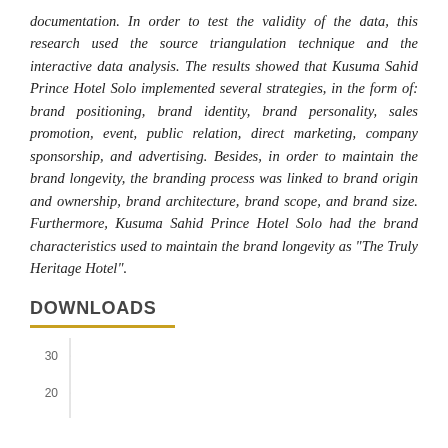documentation. In order to test the validity of the data, this research used the source triangulation technique and the interactive data analysis. The results showed that Kusuma Sahid Prince Hotel Solo implemented several strategies, in the form of: brand positioning, brand identity, brand personality, sales promotion, event, public relation, direct marketing, company sponsorship, and advertising. Besides, in order to maintain the brand longevity, the branding process was linked to brand origin and ownership, brand architecture, brand scope, and brand size. Furthermore, Kusuma Sahid Prince Hotel Solo had the brand characteristics used to maintain the brand longevity as "The Truly Heritage Hotel".
DOWNLOADS
[Figure (continuous-plot): Bar/line chart for downloads, partially visible. Y-axis shows value 30 at the top of the visible area, with the chart cut off at the bottom. The chart area is mostly white with a light horizontal gridline at y=30.]